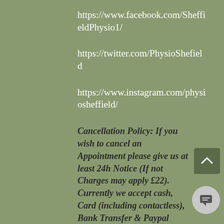https://www.facebook.com/SheffieldPhysio1/
https://twitter.com/PhysioSheffield
https://www.instagram.com/physiosheffield/
Cancellation Policy: If you wish to cancel an Appointment please give us at least 24h Notice (If not Charges may apply £22). Currently we accept cash, Card (including contactless), Bank Transfer & Paypal Payments.